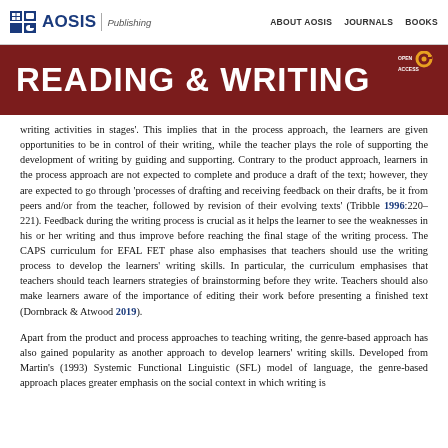AOSIS Publishing | ABOUT AOSIS | JOURNALS | BOOKS
READING & WRITING
writing activities in stages'. This implies that in the process approach, the learners are given opportunities to be in control of their writing, while the teacher plays the role of supporting the development of writing by guiding and supporting. Contrary to the product approach, learners in the process approach are not expected to complete and produce a draft of the text; however, they are expected to go through 'processes of drafting and receiving feedback on their drafts, be it from peers and/or from the teacher, followed by revision of their evolving texts' (Tribble 1996:220–221). Feedback during the writing process is crucial as it helps the learner to see the weaknesses in his or her writing and thus improve before reaching the final stage of the writing process. The CAPS curriculum for EFAL FET phase also emphasises that teachers should use the writing process to develop the learners' writing skills. In particular, the curriculum emphasises that teachers should teach learners strategies of brainstorming before they write. Teachers should also make learners aware of the importance of editing their work before presenting a finished text (Dornbrack & Atwood 2019).
Apart from the product and process approaches to teaching writing, the genre-based approach has also gained popularity as another approach to develop learners' writing skills. Developed from Martin's (1993) Systemic Functional Linguistic (SFL) model of language, the genre-based approach places greater emphasis on the social context in which writing is